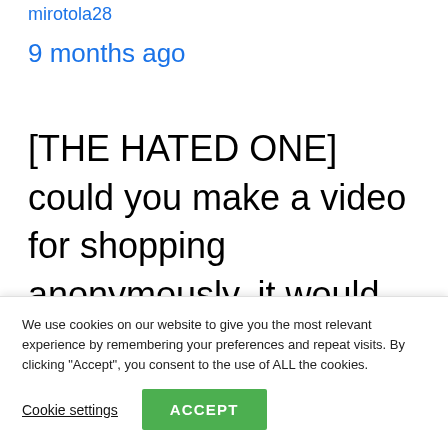mirotola28
9 months ago
[THE HATED ONE] could you make a video for shopping anonymously. it would be helpful
We use cookies on our website to give you the most relevant experience by remembering your preferences and repeat visits. By clicking “Accept”, you consent to the use of ALL the cookies.
Cookie settings
ACCEPT